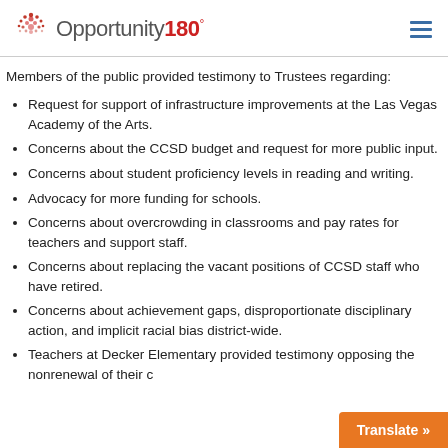Opportunity180°
Members of the public provided testimony to Trustees regarding:
Request for support of infrastructure improvements at the Las Vegas Academy of the Arts.
Concerns about the CCSD budget and request for more public input.
Concerns about student proficiency levels in reading and writing.
Advocacy for more funding for schools.
Concerns about overcrowding in classrooms and pay rates for teachers and support staff.
Concerns about replacing the vacant positions of CCSD staff who have retired.
Concerns about achievement gaps, disproportionate disciplinary action, and implicit racial bias district-wide.
Teachers at Decker Elementary provided testimony opposing the nonrenewal of their c…